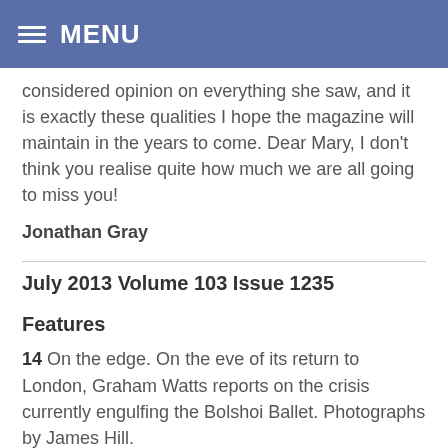MENU
considered opinion on everything she saw, and it is exactly these qualities I hope the magazine will maintain in the years to come. Dear Mary, I don't think you realise quite how much we are all going to miss you!
Jonathan Gray
July 2013 Volume 103 Issue 1235
Features
14 On the edge. On the eve of its return to London, Graham Watts reports on the crisis currently engulfing the Bolshoi Ballet. Photographs by James Hill.